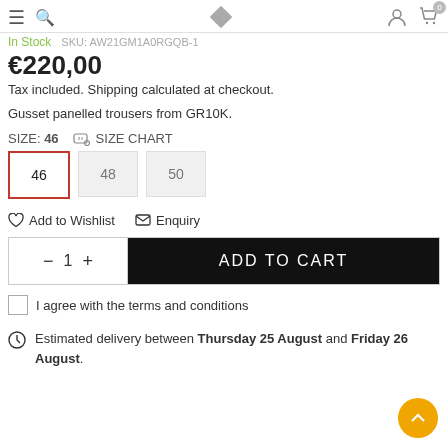In Stock  SKU: AW21GM1A0RGQB-1
€220,00
Tax included. Shipping calculated at checkout.
Gusset panelled trousers from GR10K.
SIZE: 46   SIZE CHART
46  48  50
Add to Wishlist   Enquiry
− 1 +  ADD TO CART
I agree with the terms and conditions
Estimated delivery between Thursday 25 August and Friday 26 August.